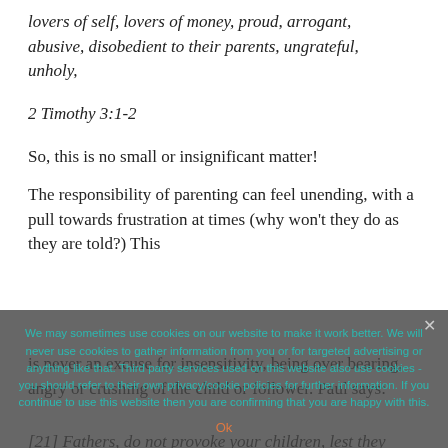lovers of self, lovers of money, proud, arrogant, abusive, disobedient to their parents, ungrateful, unholy,
2 Timothy 3:1-2
So, this is no small or insignificant matter!
The responsibility of parenting can feel unending, with a pull towards frustration at times (why won't they do as they are told?) This
is never an excuse for insensitivity, being over bearing, angry or crushing of the child or follower. Paul says:
[21] Fathers, do not provoke your children, lest they become discouraged.
We may sometimes use cookies on our website to make it work better. We will never use cookies to gather information from you or for targeted advertising or anything like that. Third party services used on this website also use cookies - you should refer to their own privacy/cookie policies for further information. If you continue to use this website then you are confirming that you are happy with this.
Ok